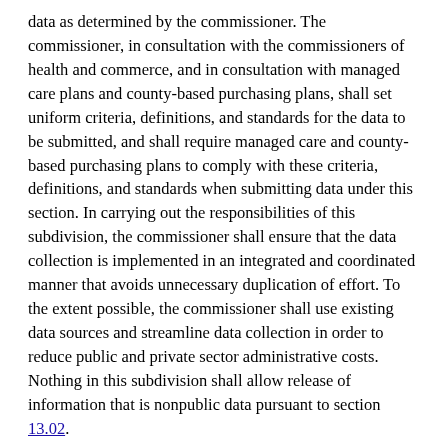data as determined by the commissioner. The commissioner, in consultation with the commissioners of health and commerce, and in consultation with managed care plans and county-based purchasing plans, shall set uniform criteria, definitions, and standards for the data to be submitted, and shall require managed care and county-based purchasing plans to comply with these criteria, definitions, and standards when submitting data under this section. In carrying out the responsibilities of this subdivision, the commissioner shall ensure that the data collection is implemented in an integrated and coordinated manner that avoids unnecessary duplication of effort. To the extent possible, the commissioner shall use existing data sources and streamline data collection in order to reduce public and private sector administrative costs. Nothing in this subdivision shall allow release of information that is nonpublic data pursuant to section 13.02.
(b) Effective January 1, 2014, each managed care and county-based purchasing plan must quarterly provide to the commissioner the following information on state public programs, in the form and manner specified by the commissioner, according to guidelines developed by the commissioner in consultation with managed care plans and county-based purchasing plans: